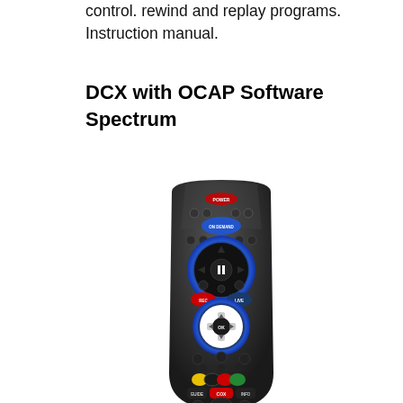control. rewind and replay programs. Instruction manual.
DCX with OCAP Software Spectrum
[Figure (photo): A Spectrum branded TV remote control (DCX with OCAP software), black in color, showing buttons including power, on-demand, navigation pad, playback controls, colored buttons (yellow, blue, red, green), Cox button, volume, channel, and numeric keypad.]